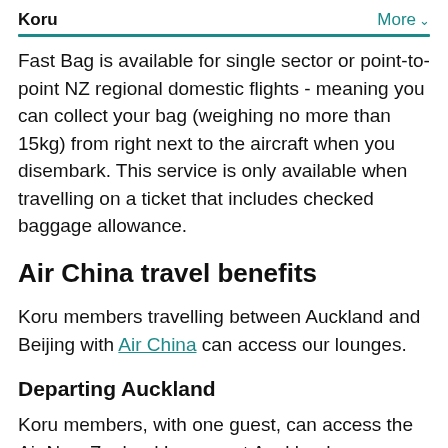Koru   More
Fast Bag is available for single sector or point-to-point NZ regional domestic flights - meaning you can collect your bag (weighing no more than 15kg) from right next to the aircraft when you disembark. This service is only available when travelling on a ticket that includes checked baggage allowance.
Air China travel benefits
Koru members travelling between Auckland and Beijing with Air China can access our lounges.
Departing Auckland
Koru members, with one guest, can access the Air New Zealand Lounge at Auckland International Airport when departing on Air New Zealand flight number (starts with NZ) and that are due to...